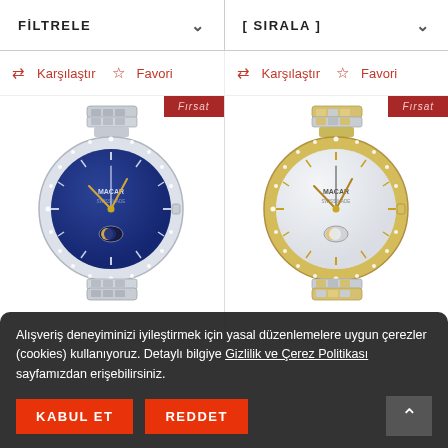FİLTRELE ∨    [ SIRALA ] ∨
⇄ Karşılaştır  ☆ Favori    ⇄ Karşılaştır  ☆ Favori
[Figure (photo): Silver watch with blue moon-phase dial and crystal-set bezel, FIRSAT badge]
[Figure (photo): Two-tone gold/silver watch with white mother-of-pearl moon-phase dial and crystal-set bezel, FIRSAT badge]
Alışveriş deneyiminizi iyileştirmek için yasal düzenlemelere uygun çerezler (cookies) kullanıyoruz. Detaylı bilgiye Gizlilik ve Çerez Politikası sayfamızdan erişebilirsiniz.
KABUL ET    REDDET